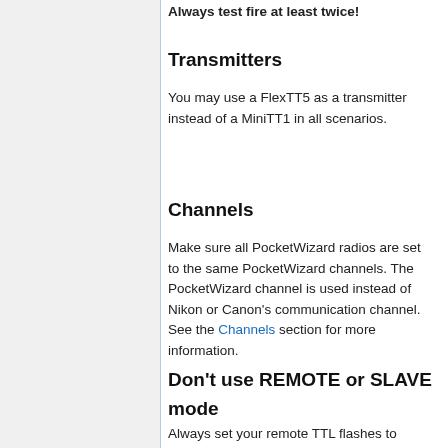Always test fire at least twice!
Transmitters
You may use a FlexTT5 as a transmitter instead of a MiniTT1 in all scenarios.
Channels
Make sure all PocketWizard radios are set to the same PocketWizard channels. The PocketWizard channel is used instead of Nikon or Canon's communication channel. See the Channels section for more information.
Don't use REMOTE or SLAVE mode
Always set your remote TTL flashes to